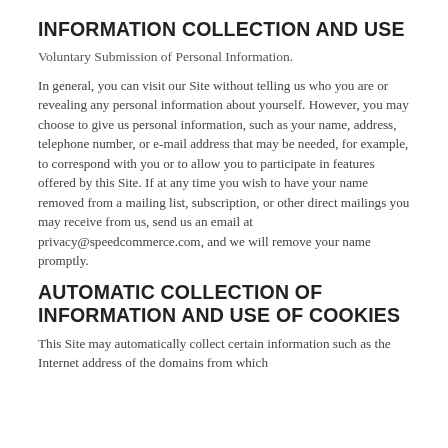INFORMATION COLLECTION AND USE
Voluntary Submission of Personal Information.
In general, you can visit our Site without telling us who you are or revealing any personal information about yourself. However, you may choose to give us personal information, such as your name, address, telephone number, or e-mail address that may be needed, for example, to correspond with you or to allow you to participate in features offered by this Site. If at any time you wish to have your name removed from a mailing list, subscription, or other direct mailings you may receive from us, send us an email at privacy@speedcommerce.com, and we will remove your name promptly.
AUTOMATIC COLLECTION OF INFORMATION AND USE OF COOKIES
This Site may automatically collect certain information such as the Internet address of the domains from which